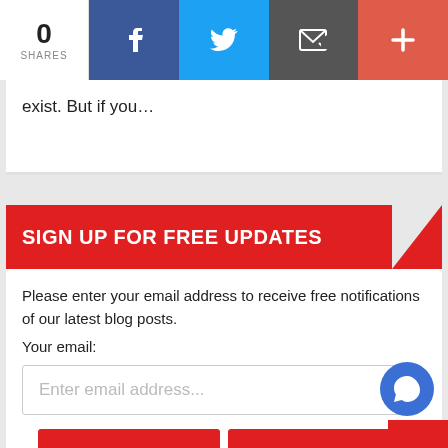[Figure (screenshot): Social share bar with count 0 SHARES and buttons: Facebook, Twitter, Email, Plus]
exist. But if you…
SIGN UP FOR FREE UPDATES
Please enter your email address to receive free notifications of our latest blog posts.
Your email:
Enter email address...